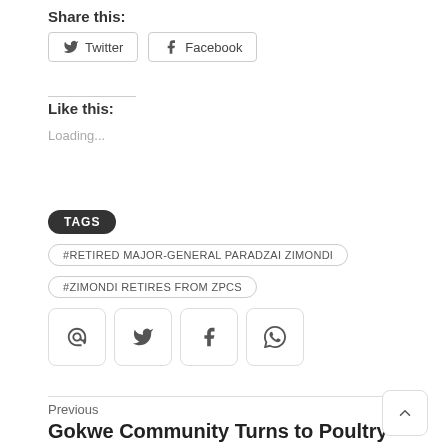Share this:
Twitter
Facebook
Like this:
Loading...
TAGS
#RETIRED MAJOR-GENERAL PARADZAI ZIMONDI
#ZIMONDI RETIRES FROM ZPCS
Previous
Gokwe Community Turns to Poultry